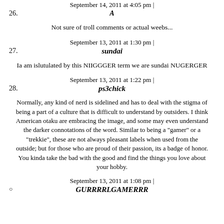September 14, 2011 at 4:05 pm |
26.  A
Not sure of troll comments or actual weebs...
September 13, 2011 at 1:30 pm |
27.  sundai
Ia am islutulated by this NIIGGGER term we are sundai NUGERGER
September 13, 2011 at 1:22 pm |
28.  ps3chick
Normally, any kind of nerd is sidelined and has to deal with the stigma of being a part of a culture that is difficult to understand by outsiders. I think American otaku are embracing the image, and some may even understand the darker connotations of the word. Similar to being a "gamer" or a "trekkie", these are not always pleasant labels when used from the outside; but for those who are proud of their passion, its a badge of honor. You kinda take the bad with the good and find the things you love about your hobby.
September 13, 2011 at 1:08 pm |
GURRRRLGAMERRR